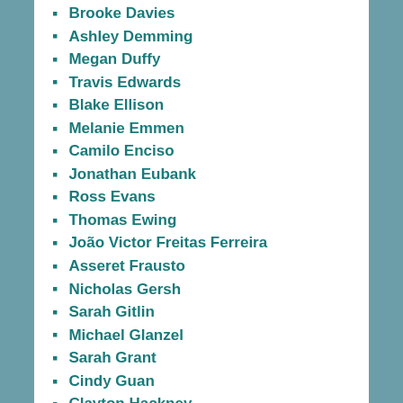Brooke Davies
Ashley Demming
Megan Duffy
Travis Edwards
Blake Ellison
Melanie Emmen
Camilo Enciso
Jonathan Eubank
Ross Evans
Thomas Ewing
João Victor Freitas Ferreira
Asseret Frausto
Nicholas Gersh
Sarah Gitlin
Michael Glanzel
Sarah Grant
Cindy Guan
Clayton Hackney
Eric Halliday
Rachael Hanna
Ella Hawkins
Samuel Hickey